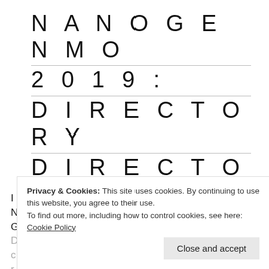NANOGENMO 2019: DIRECTORY DIRECTORY
2019-12-01
I decided to participate in NaNoGenMo (National Novel Generation Month) this year with a project called Directory Directory...
Privacy & Cookies: This site uses cookies. By continuing to use this website, you agree to their use.
To find out more, including how to control cookies, see here: Cookie Policy
Close and accept